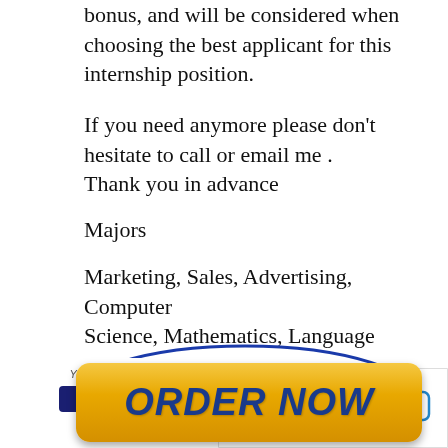bonus, and will be considered when choosing the best applicant for this internship position.
If you need anymore please don’t hesitate to call or email me .
Thank you in advance
Majors
Marketing, Sales, Advertising, Computer Science, Mathematics, Language
[Figure (other): ORDER NOW button with blue oval border and golden/orange gradient background]
[Figure (screenshot): Chat now widget with speech bubble icon in bottom right corner]
Your order is s...